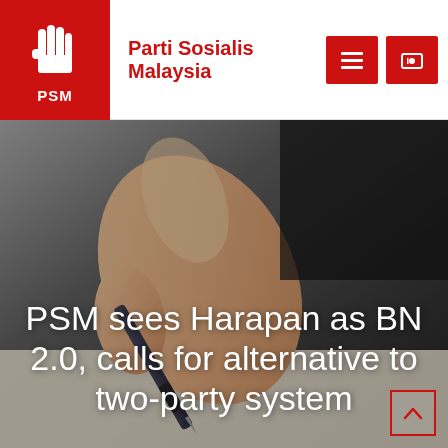[Figure (logo): PSM (Parti Sosialis Malaysia) logo: red fist on red background with 'PSM' text below in white]
Parti Sosialis Malaysia
[Figure (photo): Close-up photo of a hand holding a pen, writing on paper, dark/grey background]
PSM sees Harapan as BN 2.0, calls for alternative to two-party system